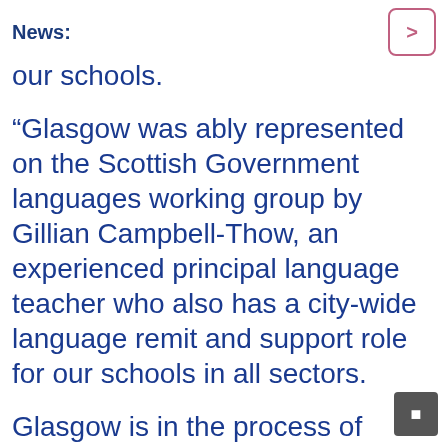News:
our schools.
“Glasgow was ably represented on the Scottish Government languages working group by Gillian Campbell-Thow, an experienced principal language teacher who also has a city-wide language remit and support role for our schools in all sectors.
Glasgow is in the process of proactively working to encourage the uptake of 1 + 2 languages in primary schools across the city with more and more teachers being trained. This session primary teachers have the chance to train in French, Spanish, German, Italian and Gaelic. Further training will be available in French,